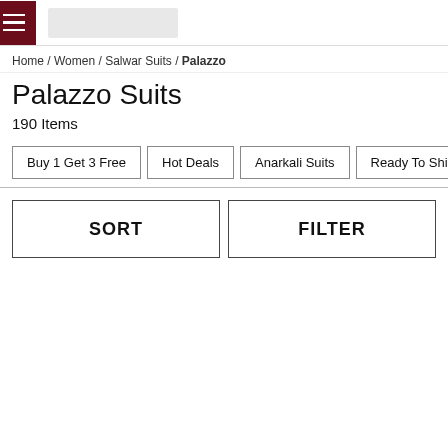☰ [logo]
Home / Women / Salwar Suits / Palazzo
Palazzo Suits
190 Items
Buy 1 Get 3 Free
Hot Deals
Anarkali Suits
Ready To Ship
Best Selling
SORT
FILTER